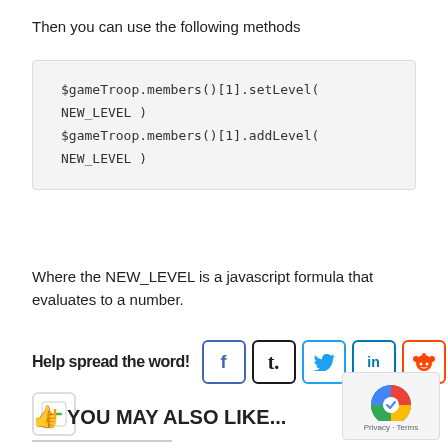Then you can use the following methods
$gameTroop.members()[1].setLevel(
NEW_LEVEL )
$gameTroop.members()[1].addLevel(
NEW_LEVEL )
Where the NEW_LEVEL is a javascript formula that evaluates to a number.
Help spread the word!
[Figure (infographic): Social share buttons: Facebook (f), Tumblr (t), Twitter bird, LinkedIn (in), Reddit alien, and Notist (N icon)]
YOU MAY ALSO LIKE...